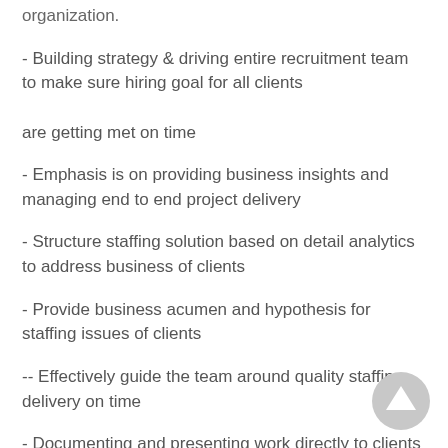organization.
- Building strategy & driving entire recruitment team to make sure hiring goal for all clients

are getting met on time
- Emphasis is on providing business insights and managing end to end project delivery
- Structure staffing solution based on detail analytics to address business of clients
- Provide business acumen and hypothesis for staffing issues of clients
-- Effectively guide the team around quality staffing delivery on time
- Documenting and presenting work directly to clients as required
- Liaison and build relationships with the client